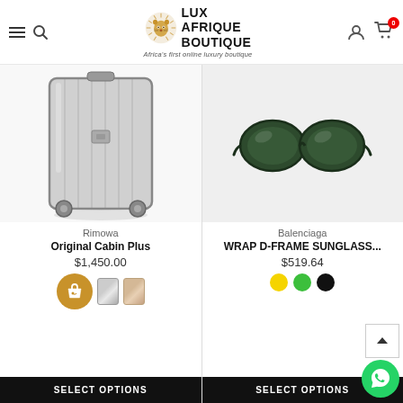Lux Afrique Boutique — Africa's first online luxury boutique
[Figure (photo): Silver Rimowa Original Cabin Plus suitcase with aluminum shell and spinner wheels]
Rimowa
Original Cabin Plus
$1,450.00
[Figure (photo): Balenciaga Wrap D-Frame sunglasses in dark green with chunky frame]
Balenciaga
WRAP D-FRAME SUNGLASS...
$519.64